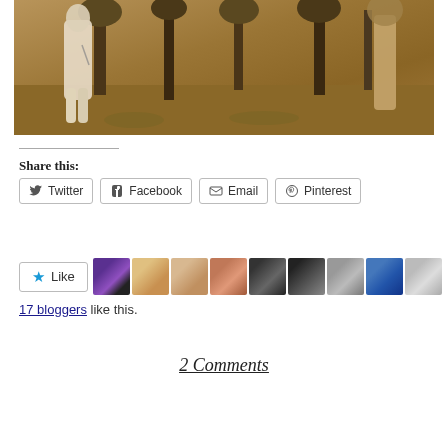[Figure (photo): A classical painting showing partially visible figures in a forest/garden setting with warm brown and golden tones]
Share this:
Twitter | Facebook | Email | Pinterest (share buttons)
[Figure (infographic): Like button with star icon and avatars of 17 bloggers who liked this post]
17 bloggers like this.
2 Comments